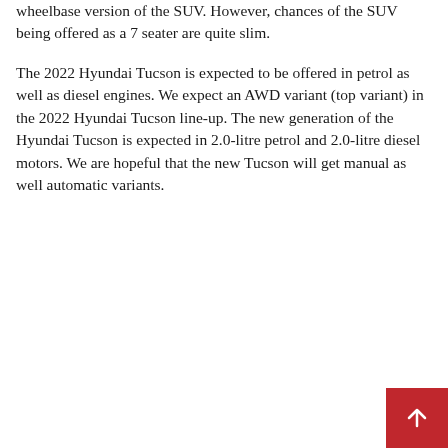wheelbase version of the SUV. However, chances of the SUV being offered as a 7 seater are quite slim.
The 2022 Hyundai Tucson is expected to be offered in petrol as well as diesel engines. We expect an AWD variant (top variant) in the 2022 Hyundai Tucson line-up. The new generation of the Hyundai Tucson is expected in 2.0-litre petrol and 2.0-litre diesel motors. We are hopeful that the new Tucson will get manual as well automatic variants.